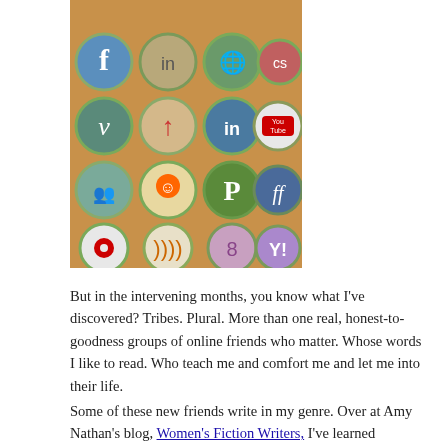[Figure (photo): A photo of bottle caps arranged in a grid on a wooden board, each cap decorated with social media logos including Facebook, LinkedIn, Last.fm, Vimeo, YouTube, Reddit, Pinterest, Friendfeed, Google, RSS, and Yahoo, among others.]
But in the intervening months, you know what I've discovered? Tribes. Plural. More than one real, honest-to-goodness groups of online friends who matter. Whose words I like to read. Who teach me and comfort me and let me into their life.
Some of these new friends write in my genre. Over at Amy Nathan's blog, Women's Fiction Writers, I've learned